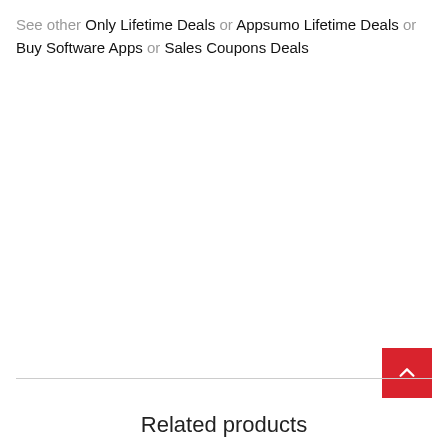See other Only Lifetime Deals or Appsumo Lifetime Deals or Buy Software Apps or Sales Coupons Deals
Related products